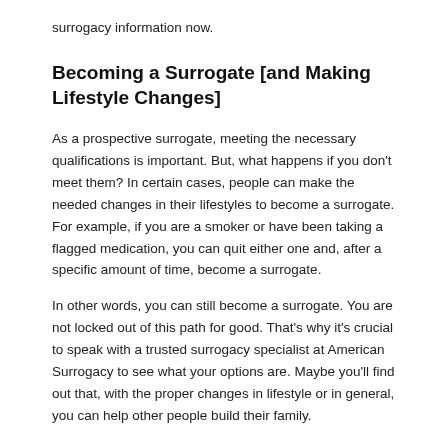surrogacy information now.
Becoming a Surrogate [and Making Lifestyle Changes]
As a prospective surrogate, meeting the necessary qualifications is important. But, what happens if you don't meet them? In certain cases, people can make the needed changes in their lifestyles to become a surrogate. For example, if you are a smoker or have been taking a flagged medication, you can quit either one and, after a specific amount of time, become a surrogate.
In other words, you can still become a surrogate. You are not locked out of this path for good. That's why it's crucial to speak with a trusted surrogacy specialist at American Surrogacy to see what your options are. Maybe you'll find out that, with the proper changes in lifestyle or in general, you can help other people build their family.